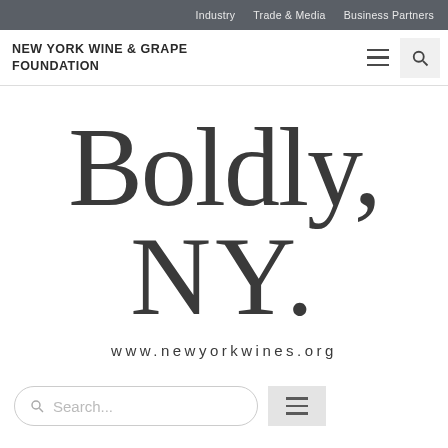Industry | Trade & Media | Business Partners
[Figure (logo): New York Wine & Grape Foundation logo with text 'NEW YORK WINE & GRAPE FOUNDATION', hamburger menu icon, and search icon]
[Figure (logo): Large stylized text 'Boldly, NY.' branding image for New York wines with website URL www.newyorkwines.org below]
www.newyorkwines.org